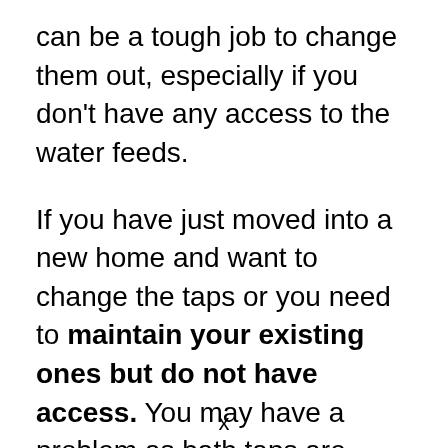can be a tough job to change them out, especially if you don't have any access to the water feeds.
If you have just moved into a new home and want to change the taps or you need to maintain your existing ones but do not have access. You may have a problem as bath taps are some of the most important fixtures in your bathroom. They are also some of the most expensive to
x